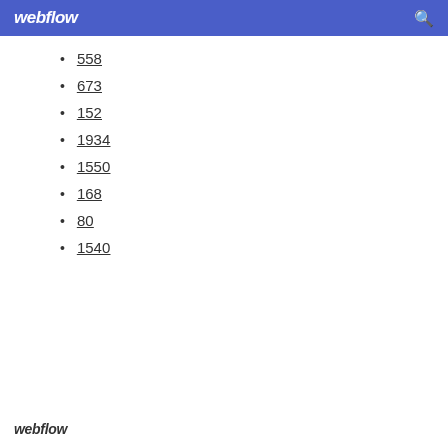webflow
558
673
152
1934
1550
168
80
1540
webflow